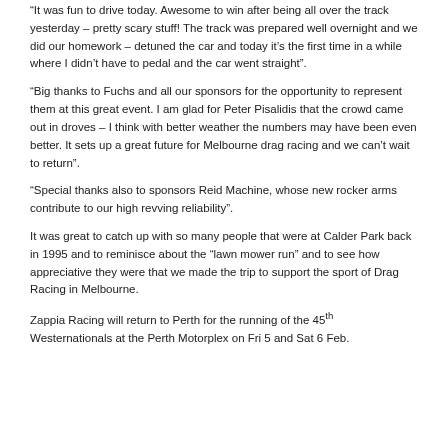“It was fun to drive today. Awesome to win after being all over the track yesterday – pretty scary stuff! The track was prepared well overnight and we did our homework – detuned the car and today it’s the first time in a while where I didn’t have to pedal and the car went straight”.
“Big thanks to Fuchs and all our sponsors for the opportunity to represent them at this great event. I am glad for Peter Pisalidis that the crowd came out in droves – I think with better weather the numbers may have been even better. It sets up a great future for Melbourne drag racing and we can’t wait to return”.
“Special thanks also to sponsors Reid Machine, whose new rocker arms contribute to our high revving reliability”.
It was great to catch up with so many people that were at Calder Park back in 1995 and to reminisce about the “lawn mower run” and to see how appreciative they were that we made the trip to support the sport of Drag Racing in Melbourne.
Zappia Racing will return to Perth for the running of the 45th Westernationals at the Perth Motorplex on Fri 5 and Sat 6 Feb.